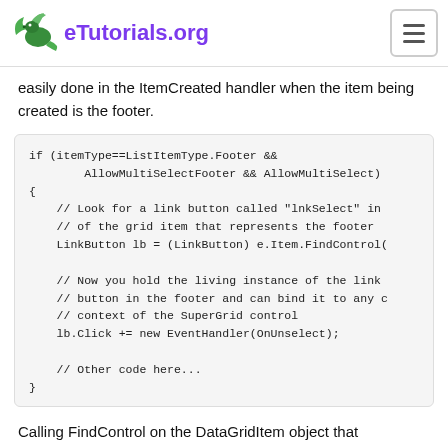eTutorials.org
easily done in the ItemCreated handler when the item being created is the footer.
if (itemType==ListItemType.Footer &&
        AllowMultiSelectFooter && AllowMultiSelect)
{
    // Look for a link button called "lnkSelect" in
    // of the grid item that represents the footer
    LinkButton lb = (LinkButton) e.Item.FindControl(

    // Now you hold the living instance of the link
    // button in the footer and can bind it to any c
    // context of the SuperGrid control
    lb.Click += new EventHandler(OnUnselect);

    // Other code here...
}
Calling FindControl on the DataGridItem object that represents the footer template returns a valid LinkButton object with the specified ID. Utilizing the DataGridItem object is the key to bringing a